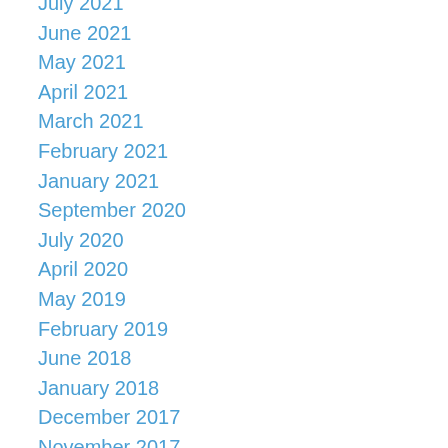July 2021
June 2021
May 2021
April 2021
March 2021
February 2021
January 2021
September 2020
July 2020
April 2020
May 2019
February 2019
June 2018
January 2018
December 2017
November 2017
August 2017
July 2017
May 2017
April 2017